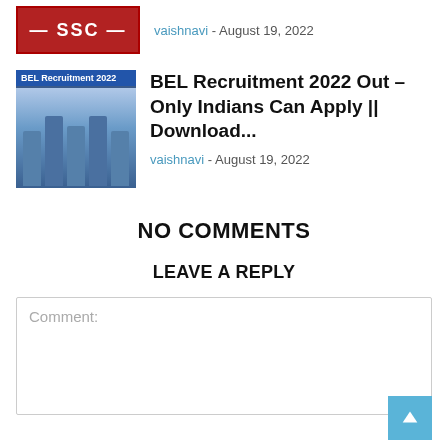[Figure (other): SSC logo thumbnail — red background with SSC text]
vaishnavi - August 19, 2022
[Figure (photo): BEL Recruitment 2022 thumbnail showing a modern blue building]
BEL Recruitment 2022 Out – Only Indians Can Apply || Download...
vaishnavi - August 19, 2022
NO COMMENTS
LEAVE A REPLY
Comment: